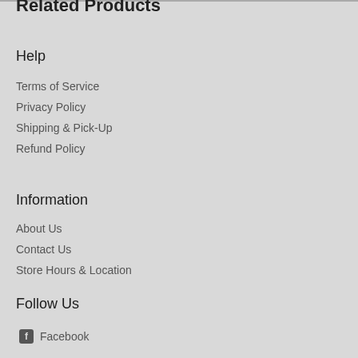Related Products
Help
Terms of Service
Privacy Policy
Shipping & Pick-Up
Refund Policy
Information
About Us
Contact Us
Store Hours & Location
Follow Us
Facebook